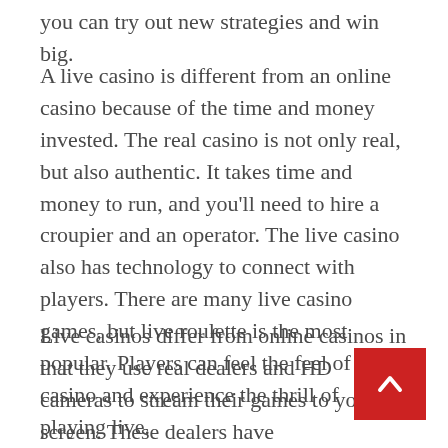you can try out new strategies and win big.
A live casino is different from an online casino because of the time and money invested. The real casino is not only real, but also authentic. It takes time and money to run, and you'll need to hire a croupier and an operator. The live casino also has technology to connect with players. There are many live casino games, but live roulette is the most popular. Players can feel the feel of a real casino and experience the thrill of playing live.
Live casinos differ from online casinos in that they use real dealers and HD cameras to stream their games to your screen. These dealers have computer programs to control the outcom[es of] the games. You'll never see the same live dealer in [online casinos, as they are programmed from the]...